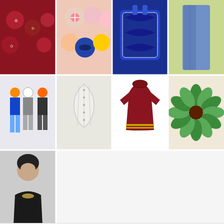[Figure (photo): Grid of 9 fashion/accessory thumbnail images arranged in 3 rows: Row 1: red nail art, colorful nail art, blue patterned bag, jeans; Row 2: ski/snowboard outfits, white corset, red children's dress, green wreath decoration; Row 3: woman in black top]
» Jewelry » Back to The Princess Cut Wedding...
Previous post:
Be Dazzled Ugg Sparkle Boots